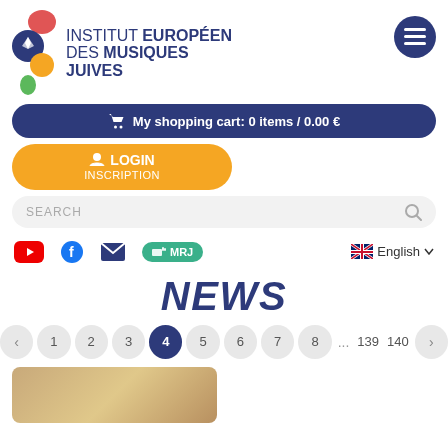[Figure (logo): Institut Européen des Musiques Juives logo with colorful musical note icon]
My shopping cart: 0 items / 0.00 €
LOGIN
INSCRIPTION
SEARCH
[Figure (infographic): Social media and language bar with YouTube, Facebook, email, MRJ radio button, and English language selector with UK flag]
NEWS
< 1 2 3 4 5 6 7 8 ... 139 140 >
[Figure (photo): Partial news article image with beige/tan background]